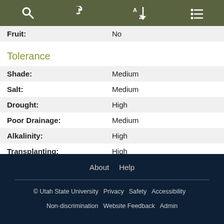Search | Reset | Sort A-Z | Menu
| Property | Value |
| --- | --- |
| Fruit: | No |
| Shade: | Medium |
| Salt: | Medium |
| Drought: | High |
| Poor Drainage: | Medium |
| Alkalinity: | High |
| Transplanting: | High |
Tolerance
About   Help
© Utah State University   Privacy   Safety   Accessibility   Non-discrimination   Website Feedback   Admin